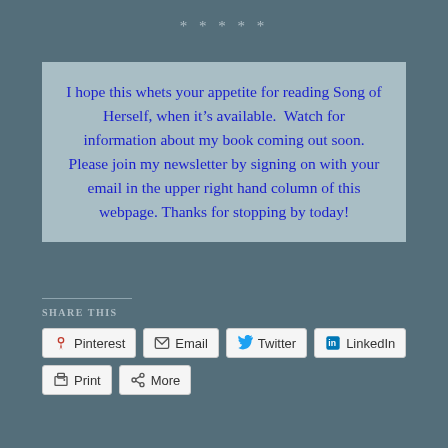*****
I hope this whets your appetite for reading Song of Herself, when it’s available.  Watch for information about my book coming out soon. Please join my newsletter by signing on with your email in the upper right hand column of this webpage. Thanks for stopping by today!
Share this
[Figure (other): Social share buttons: Pinterest, Email, Twitter, LinkedIn, Print, More]